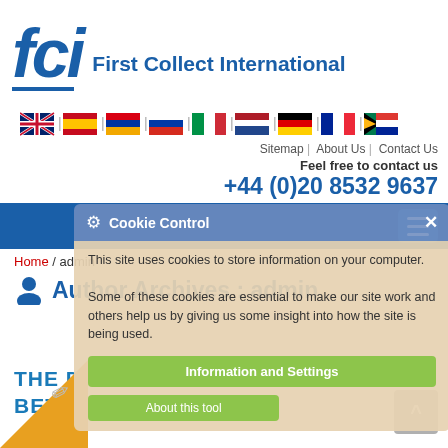[Figure (logo): FCI - First Collect International logo in blue]
[Figure (other): Row of country flag icons: UK, Spain, Armenia, Russia, Italy, Netherlands, Germany, France, South Africa, separated by dividers]
Sitemap | About Us | Contact Us
Feel free to contact us
+44 (0)20 8532 9637
[Figure (screenshot): Blue navigation bar with hamburger menu button]
Home / admin
Author Archives : admin
[Figure (screenshot): Cookie Control dialog overlay with settings and about this tool buttons]
THE DIFFERENCE BETWEEN DEBT